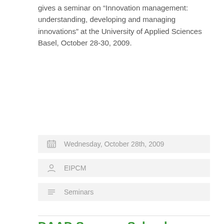gives a seminar on “Innovation management: understanding, developing and managing innovations” at the University of Applied Sciences Basel, October 28-30, 2009.
Wednesday, October 28th, 2009
EIPCM
Seminars
DAAD Summer School chaired
Prof. Dr. Bernd Freisleben, a founding member of the institute, chairs the DAAD Summer School on Current Trends in